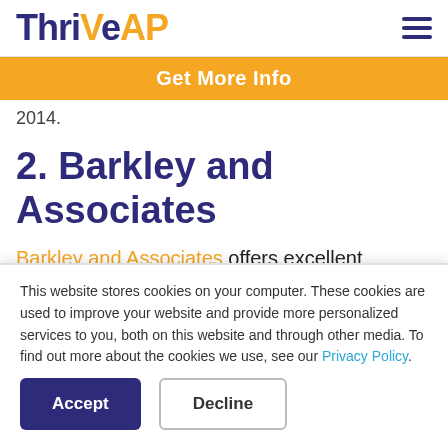ThriveAP
Get More Info
2014.
2. Barkley and Associates
Barkley and Associates offers excellent review materials for nurse practitioner
This website stores cookies on your computer. These cookies are used to improve your website and provide more personalized services to you, both on this website and through other media. To find out more about the cookies we use, see our Privacy Policy.
Accept
Decline